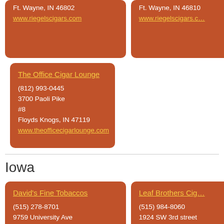Ft. Wayne, IN 46802
www.riegelscigars.com
Ft. Wayne, IN 46810
www.riegelscigars.c…
The Office Cigar Lounge
(812) 993-0445
3700 Paoli Pike
#8
Floyds Knogs, IN 47119
www.theofficecigarlounge.com
Iowa
David's Fine Tobaccos
(515) 278-8701
9759 University Ave
Clive, IA 50325
Leaf Brothers Cig…
(515) 984-8060
1924 SW 3rd street
Ankeny, IA 50023